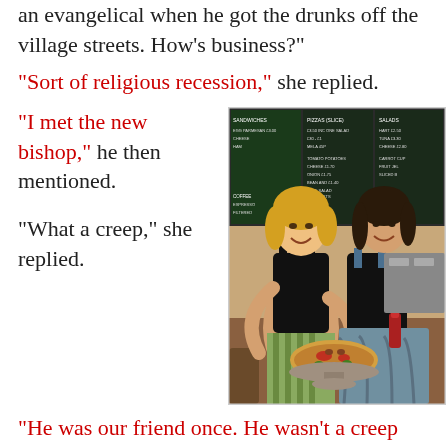an evangelical when he got the drunks off the village streets. How's business?"
"Sort of religious recession," she replied.
"I met the new bishop," he then mentioned.
[Figure (illustration): Painting of two women in a pizza restaurant, one holding a pizza, with a chalkboard menu in the background.]
"What a creep," she replied.
"He was our friend once. He wasn't a creep then."
"Not mine really, not like you. Though we gave him plenty of pizzas from our evening job."
"I don't know how you manage this kind of...